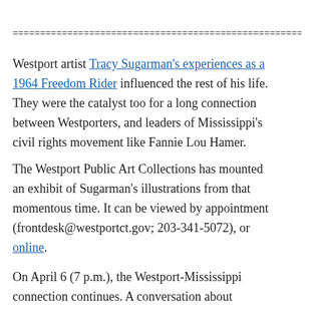==================================================================
Westport artist Tracy Sugarman’s experiences as a 1964 Freedom Rider influenced the rest of his life. They were the catalyst too for a long connection between Westporters, and leaders of Mississippi’s civil rights movement like Fannie Lou Hamer.
The Westport Public Art Collections has mounted an exhibit of Sugarman’s illustrations from that momentous time. It can be viewed by appointment (frontdesk@westportct.gov; 203-341-5072), or online.
On April 6 (7 p.m.), the Westport-Mississippi connection continues. A conversation about